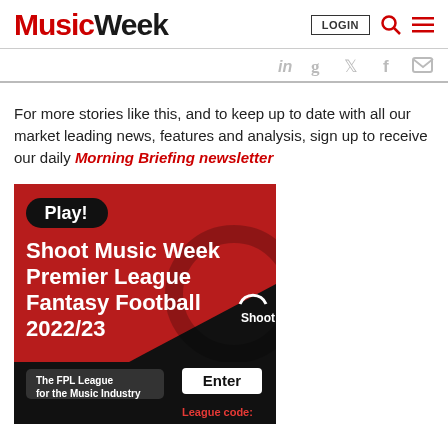Music Week — LOGIN search menu
For more stories like this, and to keep up to date with all our market leading news, features and analysis, sign up to receive our daily Morning Briefing newsletter
[Figure (advertisement): Red advertisement banner: Play! Shoot Music Week Premier League Fantasy Football 2022/23. The FPL League for the Music Industry. Shoot logo. Enter button. League code:]